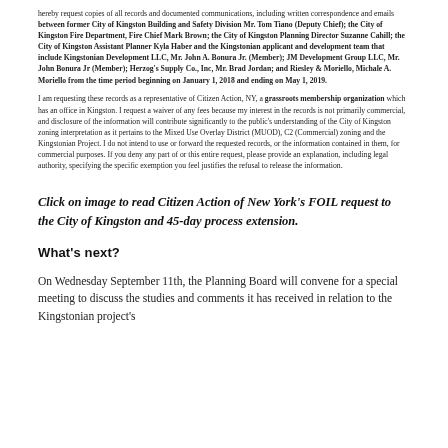hereby request copies of all records and documented communications, including written correspondence and emails between former City of Kingston Building and Safety Division Mr. Tom Tiano (Deputy Chief); the City of Kingston Fire Department, Fire Chief Mark Brown; the City of Kingston Planning Director Suzanne Cahill; the City of Kingston Assistant Planner Kyla Haber and the Kingstonian applicant and development team that include Kingstonian Development LLC, Mr. John A. Bonura Jr. (Member); JM Development Group LLC, Mr. John Bonura Jr (Member); Herzog's Supply Co., Inc, Mr. Brad Jordan; and Riesley & Moriello, Michale A. Moriello from the time period beginning on January 1, 2018 and ending on May 1, 2019.
I am requesting these records as a representative of Citizen Action, NY, a grassroots membership organization which has an office in Kingston. I request a waiver of any fees because my interest in the records is not primarily commercial, and disclosure of the information will contribute significantly to the public's understanding of the City of Kingston zoning interpretation as it pertains to the Mixed Use Overlay District (MUOD), C2 (Commercial) zoning and the Kingstonian Project. I do not intend to use or forward the requested records, or the information contained in them, for commercial purposes. If you deny any part of or this entire request, please provide an explanation, including legal authority, specifying the specific exemption you feel justifies the refusal to release the information.
Click on image to read Citizen Action of New York's FOIL request to the City of Kingston and 45-day process extension.
What's next?
On Wednesday September 11th, the Planning Board will convene for a special meeting to discuss the studies and comments it has received in relation to the Kingstonian project's